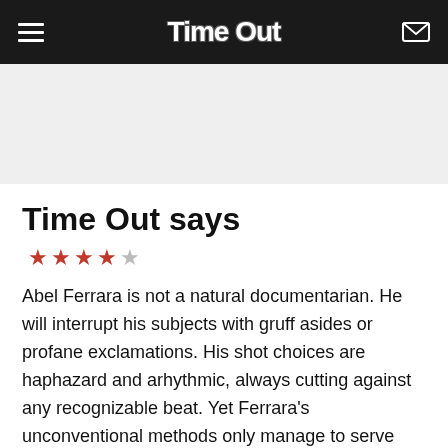Time Out
Time Out says
★★★★☆
Abel Ferrara is not a natural documentarian. He will interrupt his subjects with gruff asides or profane exclamations. His shot choices are haphazard and arhythmic, always cutting against any recognizable beat. Yet Ferrara's unconventional methods only manage to serve Chelsea on the Rocks, his loving portrait of Manhattan's boho landmark, the Chelsea Hotel. This downtown edifice has housed all number of tenants,